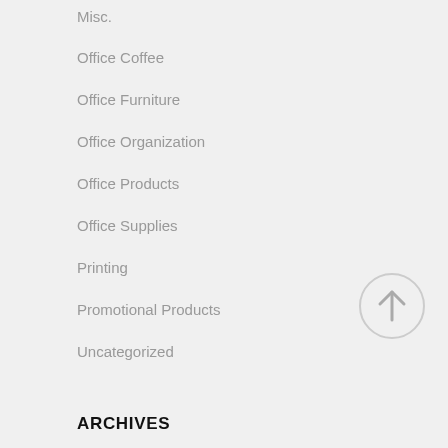Misc.
Office Coffee
Office Furniture
Office Organization
Office Products
Office Supplies
Printing
Promotional Products
Uncategorized
[Figure (other): Back to top arrow button, circular grey border with upward arrow icon]
ARCHIVES